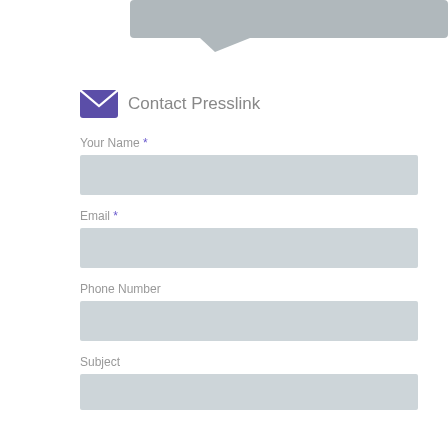[Figure (illustration): Partial gray speech bubble or decorative graphic at the top of the page]
Contact Presslink
Your Name *
Email *
Phone Number
Subject